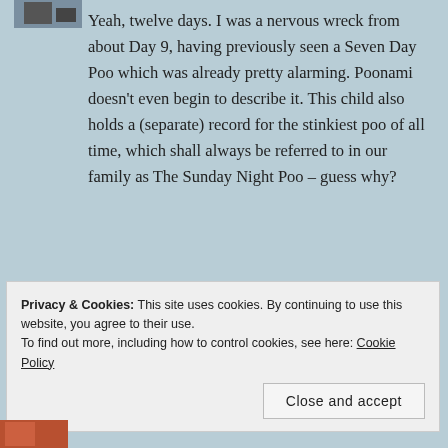Yeah, twelve days. I was a nervous wreck from about Day 9, having previously seen a Seven Day Poo which was already pretty alarming. Poonami doesn't even begin to describe it. This child also holds a (separate) record for the stinkiest poo of all time, which shall always be referred to in our family as The Sunday Night Poo – guess why?
★ Like
Privacy & Cookies: This site uses cookies. By continuing to use this website, you agree to their use.
To find out more, including how to control cookies, see here: Cookie Policy
Close and accept